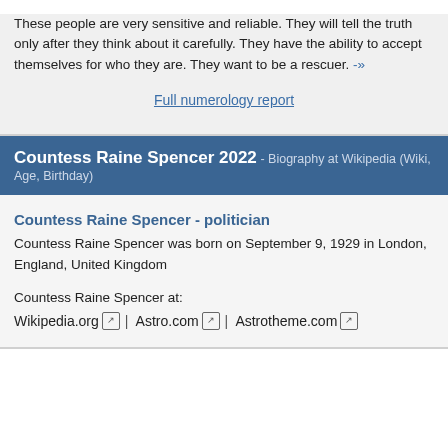These people are very sensitive and reliable. They will tell the truth only after they think about it carefully. They have the ability to accept themselves for who they are. They want to be a rescuer. -»
Full numerology report
Countess Raine Spencer 2022 - Biography at Wikipedia (Wiki, Age, Birthday)
Countess Raine Spencer - politician
Countess Raine Spencer was born on September 9, 1929 in London, England, United Kingdom
Countess Raine Spencer at:
Wikipedia.org | Astro.com | Astrotheme.com
Countess Raine Spencer